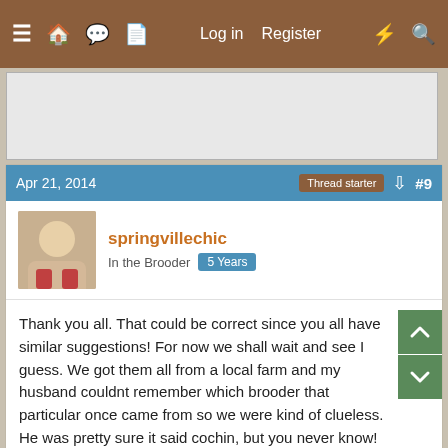≡ 🏠 💬 📄   Log in   Register   ⚡   🔍
[Figure (other): Advertisement placeholder (gray box)]
Apr 21, 2014   Thread starter   #9
springvillechic
In the Brooder   5 Years
Thank you all. That could be correct since you all have similar suggestions! For now we shall wait and see I guess. We got them all from a local farm and my husband couldnt remember which brooder that particular once came from so we were kind of clueless. He was pretty sure it said cochin, but you never know!
I think the duckling is pretty cute too 🙂 even if it poops way too much! haha